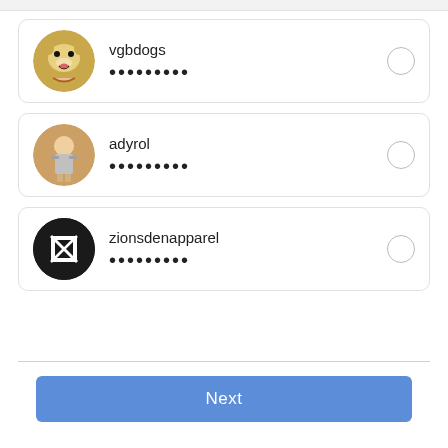[Figure (screenshot): Account list item: vgbdogs with dog avatar, password dots, and unselected radio button]
[Figure (screenshot): Account list item: adyrol with woman avatar, password dots, and unselected radio button]
[Figure (screenshot): Account list item: zionsdenapparel with logo avatar, password dots, and unselected radio button]
Next
4. Select all the accounts you want to